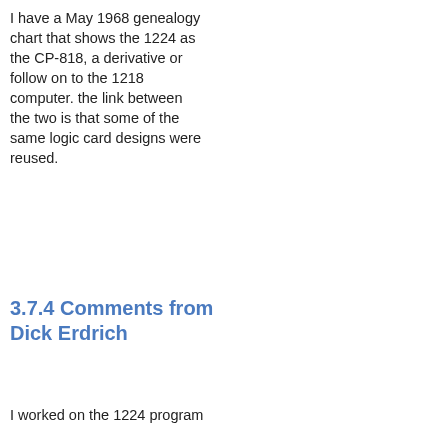I have a May 1968 genealogy chart that shows the 1224 as the CP-818, a derivative or follow on to the 1218 computer. the link between the two is that some of the same logic card designs were reused.
3.7.4 Comments from Dick Erdrich
I worked on the 1224 program